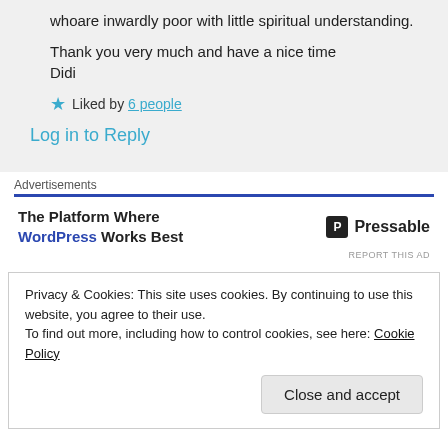whoare inwardly poor with little spiritual understanding.
Thank you very much and have a nice time
Didi
★ Liked by 6 people
Log in to Reply
Advertisements
The Platform Where WordPress Works Best   P Pressable
REPORT THIS AD
Privacy & Cookies: This site uses cookies. By continuing to use this website, you agree to their use.
To find out more, including how to control cookies, see here: Cookie Policy
Close and accept